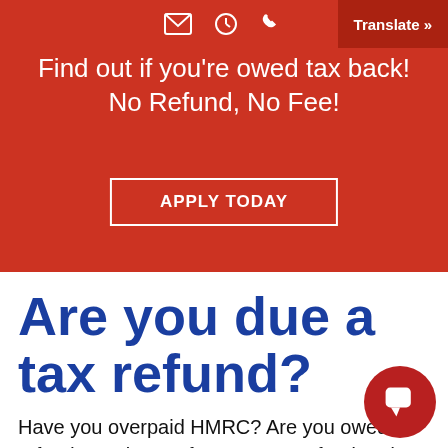Translate »
Find out if you're owed tax back! No Refund, No Fee!
APPLY TODAY
Are you due a tax refund?
Have you overpaid HMRC? Are you owed a refund? Apply now for a UK tax refund and reclaim